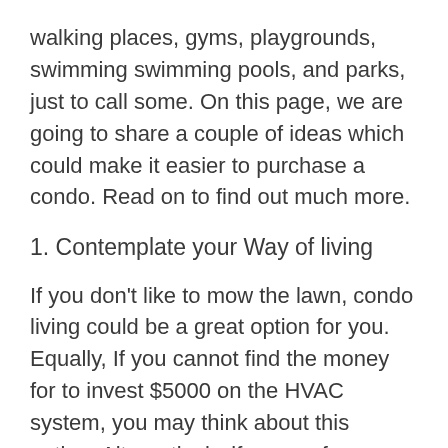walking places, gyms, playgrounds, swimming swimming pools, and parks, just to call some. On this page, we are going to share a couple of ideas which could make it easier to purchase a condo. Read on to find out much more.
1. Contemplate your Way of living
If you don't like to mow the lawn, condo living could be a great option for you. Equally, If you cannot find the money for to invest $5000 on the HVAC system, you may think about this option. Alternatively, if you prefer a substantial yard, you could possibly provide a check out a unique style of assets, such as a townhouse.